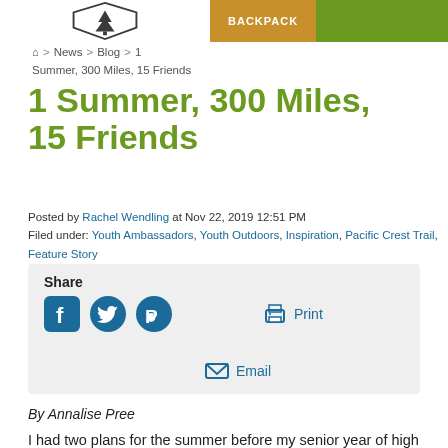BACKPACK
🏠 > News > Blog > 1
Summer, 300 Miles, 15 Friends
1 Summer, 300 Miles, 15 Friends
Posted by Rachel Wendling at Nov 22, 2019 12:51 PM
Filed under: Youth Ambassadors, Youth Outdoors, Inspiration, Pacific Crest Trail, Feature Story
[Figure (infographic): Share box with Facebook, Twitter, Pinterest icons, Print button, and Email button]
By Annalise Pree
I had two plans for the summer before my senior year of high school, and both required a lot of prep work